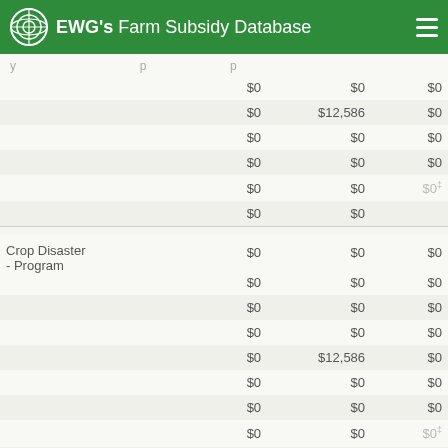EWG's Farm Subsidy Database
| Program | Col1 | Col2 | Col3 |
| --- | --- | --- | --- |
|  | $0 | $0 | $0 |
|  | $0 | $12,586 | $0 |
|  | $0 | $0 | $0 |
|  | $0 | $0 | $0 |
|  | $0 | $0 | $0 |
|  | $0 | $0 |  |
| Crop Disaster - Program | $0 | $0 | $0 |
|  | $0 | $0 | $0 |
|  | $0 | $0 | $0 |
|  | $0 | $0 | $0 |
|  | $0 | $12,586 | $0 |
|  | $0 | $0 | $0 |
|  | $0 | $0 | $0 |
|  | $0 | $0 | $0 |
|  | $0 | $0 |  |